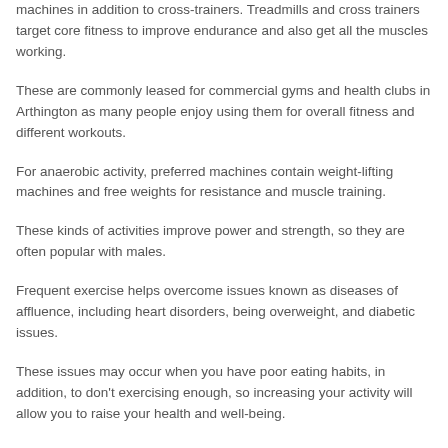machines in addition to cross-trainers. Treadmills and cross trainers target core fitness to improve endurance and also get all the muscles working.
These are commonly leased for commercial gyms and health clubs in Arthington as many people enjoy using them for overall fitness and different workouts.
For anaerobic activity, preferred machines contain weight-lifting machines and free weights for resistance and muscle training.
These kinds of activities improve power and strength, so they are often popular with males.
Frequent exercise helps overcome issues known as diseases of affluence, including heart disorders, being overweight, and diabetic issues.
These issues may occur when you have poor eating habits, in addition, to don't exercising enough, so increasing your activity will allow you to raise your health and well-being.